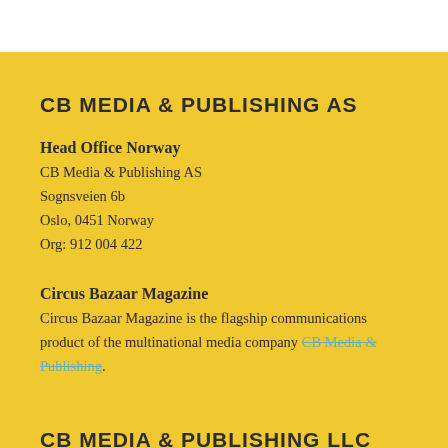CB MEDIA & PUBLISHING AS
Head Office Norway
CB Media & Publishing AS
Sognsveien 6b
Oslo, 0451 Norway
Org: 912 004 422
Circus Bazaar Magazine
Circus Bazaar Magazine is the flagship communications product of the multinational media company CB Media & Publishing.
CB MEDIA & PUBLISHING LLC